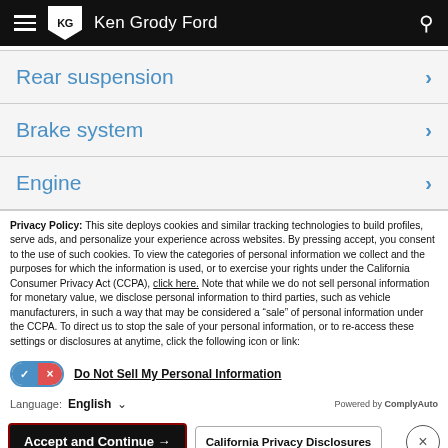Ken Grody Ford
Rear suspension
Brake system
Engine
Privacy Policy: This site deploys cookies and similar tracking technologies to build profiles, serve ads, and personalize your experience across websites. By pressing accept, you consent to the use of such cookies. To view the categories of personal information we collect and the purposes for which the information is used, or to exercise your rights under the California Consumer Privacy Act (CCPA), click here. Note that while we do not sell personal information for monetary value, we disclose personal information to third parties, such as vehicle manufacturers, in such a way that may be considered a "sale" of personal information under the CCPA. To direct us to stop the sale of your personal information, or to re-access these settings or disclosures at anytime, click the following icon or link:
Do Not Sell My Personal Information
Language: English   Powered by ComplyAuto
Accept and Continue →   California Privacy Disclosures